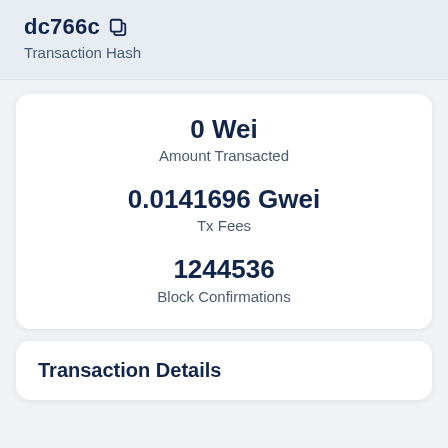dc766c
Transaction Hash
0 Wei
Amount Transacted
0.0141696 Gwei
Tx Fees
1244536
Block Confirmations
Transaction Details